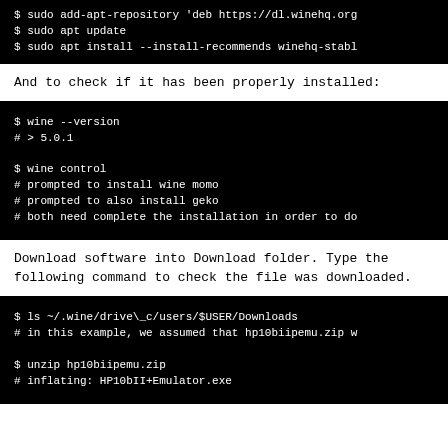[Figure (screenshot): Terminal code block showing sudo add-apt-repository, sudo apt update, sudo apt install commands (top, partially cut off)]
And to check if it has been properly installed:
[Figure (screenshot): Terminal code block showing: $ wine --version, # > 5.0.1, $ wine control, # prompted to install wine momo, # prompted to also install geko, # both need complete the installation in order to do]
Download software into Download folder. Type the following command to check the file was downloaded.
[Figure (screenshot): Terminal code block showing: $ ls ~/.wine/drive\_c/users/$USER/Downloads, # in this example, we assumed that hp10biipemu.zip w, $ unzip hp10biipemu.zip, # inflating: HP10bII+Emulator.exe]